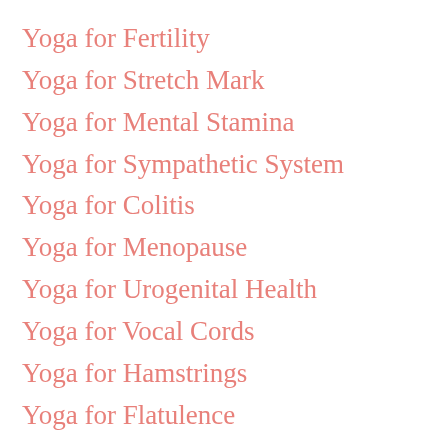Yoga for Fertility
Yoga for Stretch Mark
Yoga for Mental Stamina
Yoga for Sympathetic System
Yoga for Colitis
Yoga for Menopause
Yoga for Urogenital Health
Yoga for Vocal Cords
Yoga for Hamstrings
Yoga for Flatulence